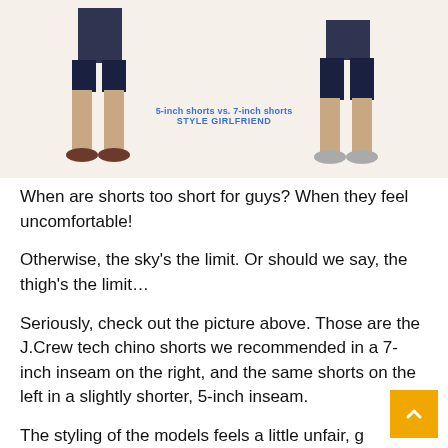[Figure (photo): Two male models side by side showing 5-inch shorts vs 7-inch shorts comparison from J.Crew, with label '5-inch shorts vs. 7-inch shorts' and 'STYLE GIRLFRIEND' overlaid in blue text. Left model wears 5-inch inseam shorts with loafers, right model wears 7-inch inseam shorts with sneakers. Background is beige/cream.]
When are shorts too short for guys? When they feel uncomfortable!
Otherwise, the sky’s the limit. Or should we say, the thigh’s the limit…
Seriously, check out the picture above. Those are the J.Crew tech chino shorts we recommended in a 7-inch inseam on the right, and the same shorts on the left in a slightly shorter, 5-inch inseam.
The styling of the models feels a little unfair, g that the 7-inch shorts are styled with “manly”